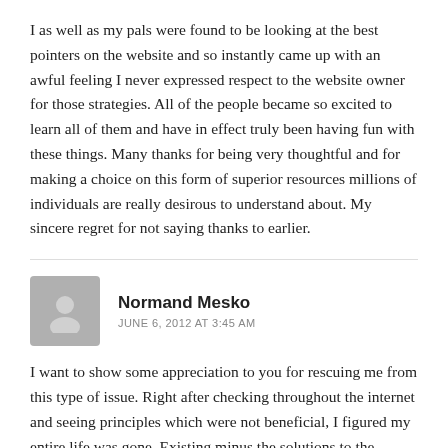I as well as my pals were found to be looking at the best pointers on the website and so instantly came up with an awful feeling I never expressed respect to the website owner for those strategies. All of the people became so excited to learn all of them and have in effect truly been having fun with these things. Many thanks for being very thoughtful and for making a choice on this form of superior resources millions of individuals are really desirous to understand about. My sincere regret for not saying thanks to earlier.
Normand Mesko
JUNE 6, 2012 AT 3:45 AM
I want to show some appreciation to you for rescuing me from this type of issue. Right after checking throughout the internet and seeing principles which were not beneficial, I figured my entire life was gone. Existing minus the solutions to the problems you've sorted out all through your entire blog